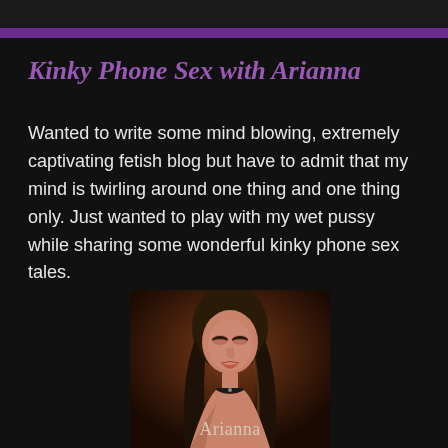Kinky Phone Sex with Arianna
Wanted to write some mind blowing, extremely captivating fetish blog but have to admit that my mind is twirling around one thing and one thing only. Just wanted to play with my wet pussy while sharing some wonderful kinky phone sex tales.
[Figure (photo): Portrait photo of a woman named Arianna with long dark hair, wearing a choker, looking down, with her name displayed at the bottom of the image.]